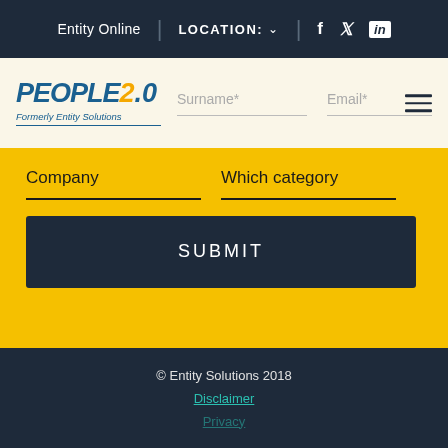Entity Online | LOCATION: ▾ | f  𝕏  in
[Figure (logo): People2.0 logo with tagline 'Formerly Entity Solutions']
Surname*
Email*
Company
Which category
SUBMIT
© Entity Solutions 2018
Disclaimer
Privacy